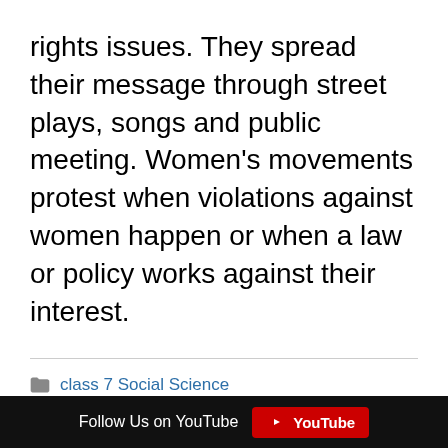movements raise awareness on women's rights issues. They spread their message through street plays, songs and public meeting. Women's movements protest when violations against women happen or when a law or policy works against their interest.
Categories: class 7 Social Science
« NCERT Solutions for Class 7 Social Science Social and Political Life – 2 Chapter 4-Growing Up as Boys and Girls
Follow Us on YouTube  YouTube